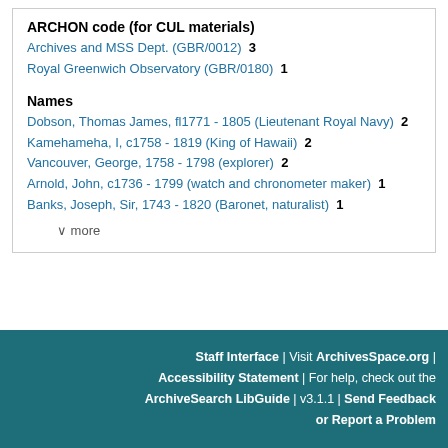ARCHON code (for CUL materials)
Archives and MSS Dept. (GBR/0012)  3
Royal Greenwich Observatory (GBR/0180)  1
Names
Dobson, Thomas James, fl1771 - 1805 (Lieutenant Royal Navy)  2
Kamehameha, I, c1758 - 1819 (King of Hawaii)  2
Vancouver, George, 1758 - 1798 (explorer)  2
Arnold, John, c1736 - 1799 (watch and chronometer maker)  1
Banks, Joseph, Sir, 1743 - 1820 (Baronet, naturalist)  1
∨ more
Staff Interface | Visit ArchivesSpace.org | Accessibility Statement | For help, check out the ArchiveSearch LibGuide | v3.1.1 | Send Feedback or Report a Problem